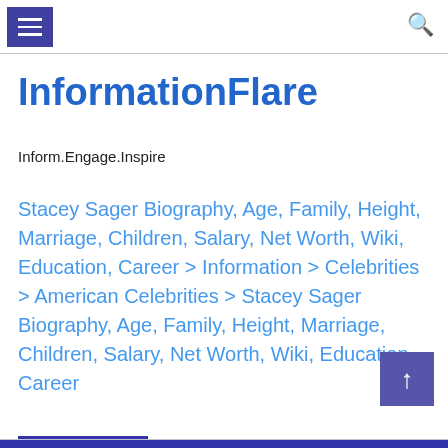InformationFlare - menu and search header
InformationFlare
Inform.Engage.Inspire
Stacey Sager Biography, Age, Family, Height, Marriage, Children, Salary, Net Worth, Wiki, Education, Career > Information > Celebrities > American Celebrities > Stacey Sager Biography, Age, Family, Height, Marriage, Children, Salary, Net Worth, Wiki, Education, Career